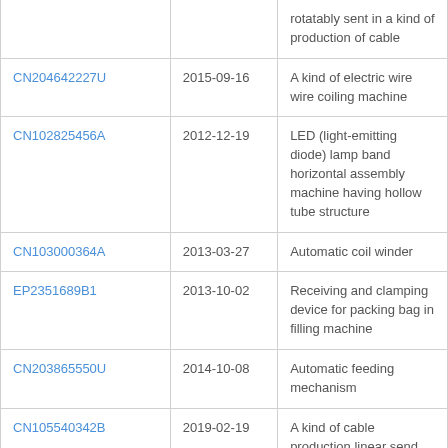|  |  | rotatably sent in a kind of production of cable |
| CN204642227U | 2015-09-16 | A kind of electric wire wire coiling machine |
| CN102825456A | 2012-12-19 | LED (light-emitting diode) lamp band horizontal assembly machine having hollow tube structure |
| CN103000364A | 2013-03-27 | Automatic coil winder |
| EP2351689B1 | 2013-10-02 | Receiving and clamping device for packing bag in filling machine |
| CN203865550U | 2014-10-08 | Automatic feeding mechanism |
| CN105540342B | 2019-02-19 | A kind of cable production linear send the device of disk and film feeding |
| CN205616360U | 2016-10-05 | Cable production cathetus formula is sent dish and is sent device of membrane |